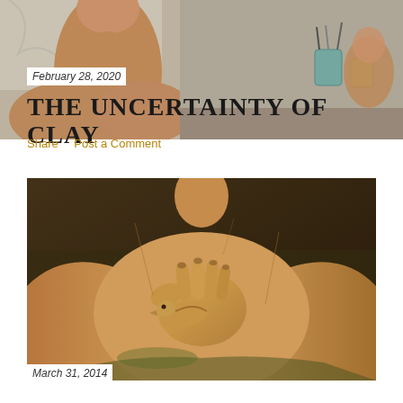[Figure (photo): Partial photo of a clay sculpture bust showing neck and shoulder area, with art studio background including wrapped objects and containers with art tools]
February 28, 2020
THE UNCERTAINTY OF CLAY
Share    Post a Comment
[Figure (photo): Clay sculpture depicting a human torso/bust with hands holding a small bird figure against the chest, warm golden-orange tones on dark background]
March 31, 2014